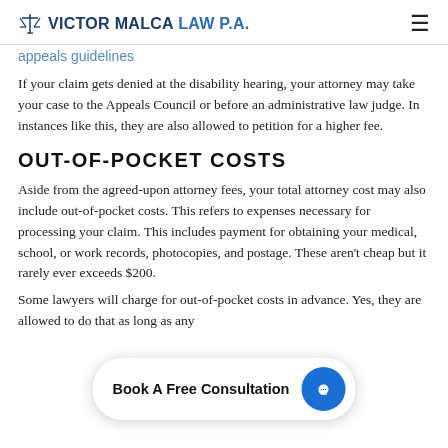VICTOR MALCA LAW P.A.
appeals guidelines
If your claim gets denied at the disability hearing, your attorney may take your case to the Appeals Council or before an administrative law judge. In instances like this, they are also allowed to petition for a higher fee.
OUT-OF-POCKET COSTS
Aside from the agreed-upon attorney fees, your total attorney cost may also include out-of-pocket costs. This refers to expenses necessary for processing your claim. This includes payment for obtaining your medical, school, or work records, photocopies, and postage. These aren't cheap but it rarely ever exceeds $200.
Some lawyers will charge for out-of-pocket costs in advance. Yes, they are allowed to do that as long as any
Book A Free Consultation